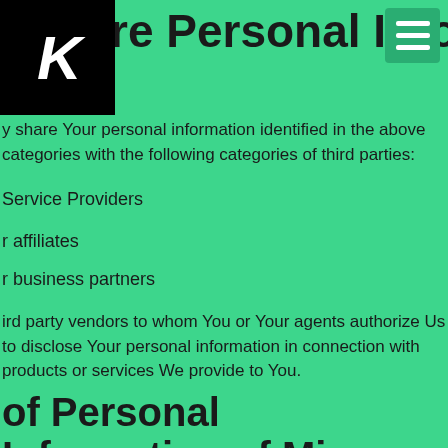re Personal Information
y share Your personal information identified in the above categories with the following categories of third parties:
Service Providers
r affiliates
r business partners
ird party vendors to whom You or Your agents authorize Us to disclose Your personal information in connection with products or services We provide to You.
of Personal Information of Minors Under 16 Years of Age
not knowingly collect personal information from minors under 16 through our Service, although certain third party websites may do so. These third-party websites have their own terms...